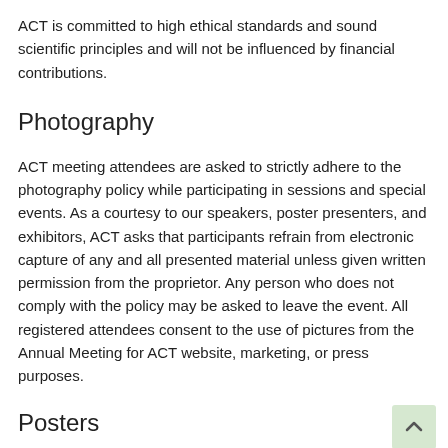ACT is committed to high ethical standards and sound scientific principles and will not be influenced by financial contributions.
Photography
ACT meeting attendees are asked to strictly adhere to the photography policy while participating in sessions and special events. As a courtesy to our speakers, poster presenters, and exhibitors, ACT asks that participants refrain from electronic capture of any and all presented material unless given written permission from the proprietor. Any person who does not comply with the policy may be asked to leave the event. All registered attendees consent to the use of pictures from the Annual Meeting for ACT website, marketing, or press purposes.
Posters
Posters should represent only scientific material and should not contain any marketing of a company, service, or product.